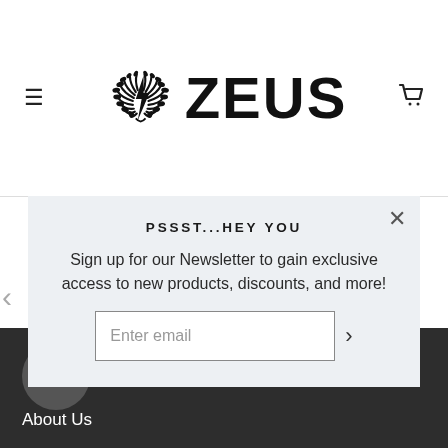ZEUS — navigation header with hamburger menu and cart icon
[Figure (logo): ZEUS brand logo: laurel wreath with lightning bolt and bold text ZEUS]
PSSST...HEY YOU
Sign up for our Newsletter to gain exclusive access to new products, discounts, and more!
Enter email
ZEUS INFO — About Us